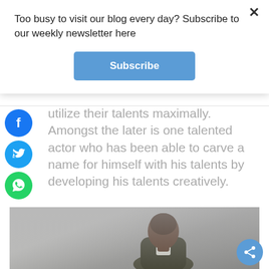Too busy to visit our blog every day? Subscribe to our weekly newsletter here
Subscribe
utilize their talents maximally. Amongst the later is one talented actor who has been able to carve a name for himself with his talents by developing his talents creatively.
[Figure (photo): Portrait photo of a young Black man in a dark suit jacket, looking to the side, on a grey background]
[Figure (infographic): Share button (blue circle with share icon) overlaid on the photo]